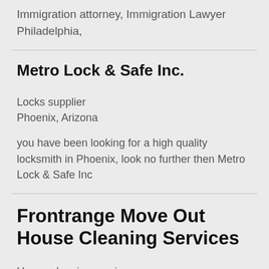Immigration attorney, Immigration Lawyer Philadelphia,
Metro Lock & Safe Inc.
Locks supplier
Phoenix, Arizona
you have been looking for a high quality locksmith in Phoenix, look no further then Metro Lock & Safe Inc
Frontrange Move Out House Cleaning Services
House cleaning service